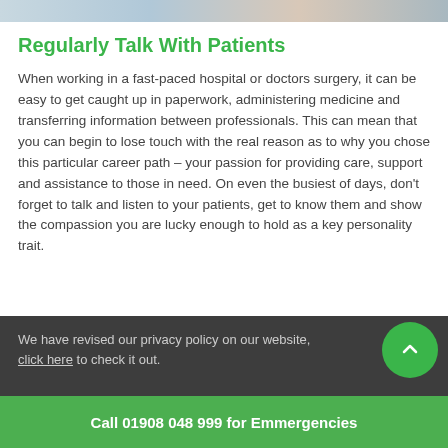[Figure (photo): Top image strip showing medical professionals]
Regularly Talk With Patients
When working in a fast-paced hospital or doctors surgery, it can be easy to get caught up in paperwork, administering medicine and transferring information between professionals. This can mean that you can begin to lose touch with the real reason as to why you chose this particular career path – your passion for providing care, support and assistance to those in need. On even the busiest of days, don't forget to talk and listen to your patients, get to know them and show the compassion you are lucky enough to hold as a key personality trait.
We have revised our privacy policy on our website, click here to check it out.
Call 01908 048 999 for Emmergencies